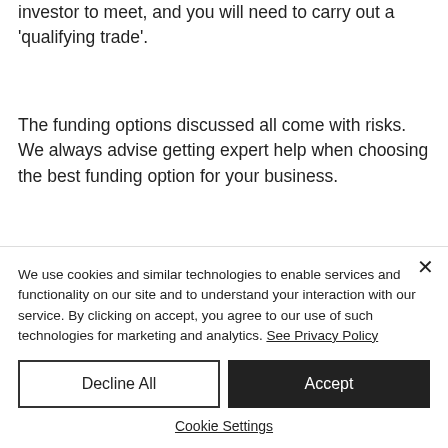investor to meet, and you will need to carry out a 'qualifying trade'.
The funding options discussed all come with risks. We always advise getting expert help when choosing the best funding option for your business.
Purple Accounts can help you with
We use cookies and similar technologies to enable services and functionality on our site and to understand your interaction with our service. By clicking on accept, you agree to our use of such technologies for marketing and analytics. See Privacy Policy
Decline All
Accept
Cookie Settings